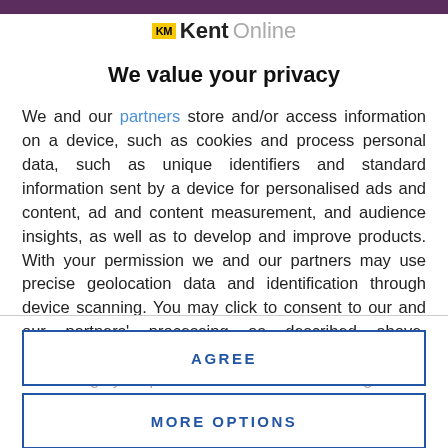[Figure (logo): KM KentOnline logo with yellow KM badge and Kent in bold black, Online in grey]
We value your privacy
We and our partners store and/or access information on a device, such as cookies and process personal data, such as unique identifiers and standard information sent by a device for personalised ads and content, ad and content measurement, and audience insights, as well as to develop and improve products. With your permission we and our partners may use precise geolocation data and identification through device scanning. You may click to consent to our and our partners' processing as described above. Alternatively you may access more detailed information and change your preferences before consenting
AGREE
MORE OPTIONS